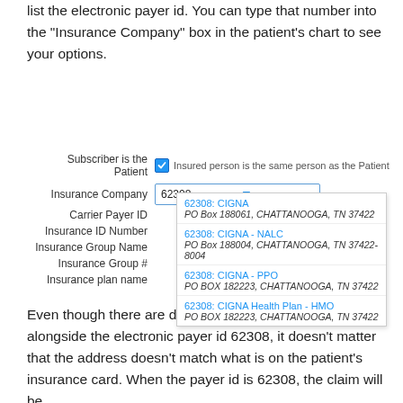list the electronic payer id.  You can type that number into the "Insurance Company" box in the patient's chart to see your options.
[Figure (screenshot): Screenshot of an insurance form UI showing fields: Subscriber is the Patient (checked), Insurance Company (value: 62308), Carrier Payer ID, Insurance ID Number, Insurance Group Name, Insurance Group #, Insurance plan name. A dropdown shows four CIGNA options with addresses: 62308: CIGNA (PO Box 188061, CHATTANOOGA, TN 37422), 62308: CIGNA - NALC (PO Box 188004, CHATTANOOGA, TN 37422-8004), 62308: CIGNA - PPO (PO BOX 182223, CHATTANOOGA, TN 37422), 62308: CIGNA Health Plan - HMO (PO BOX 182223, CHATTANOOGA, TN 37422).]
Even though there are different addresses listed alongside the electronic payer id 62308, it doesn't matter that the address doesn't match what is on the patient's insurance card.  When the payer id is 62308, the claim will be